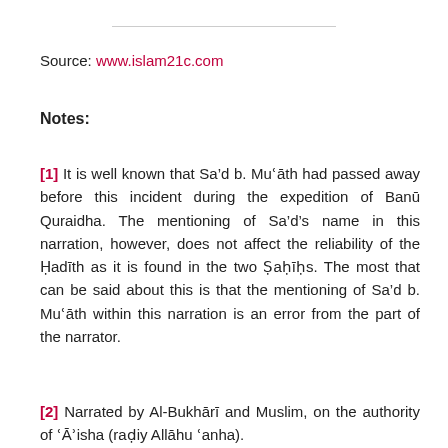Source: www.islam21c.com
Notes:
[1] It is well known that Sa’d b. Muʿāth had passed away before this incident during the expedition of Banū Quraidha. The mentioning of Sa’d’s name in this narration, however, does not affect the reliability of the Ḥadīth as it is found in the two Ṣaḥīḥs. The most that can be said about this is that the mentioning of Sa’d b. Muʿāth within this narration is an error from the part of the narrator.
[2] Narrated by Al-Bukhārī and Muslim, on the authority of ʿĀʾisha (raḍiy Allāhu ʿanha).